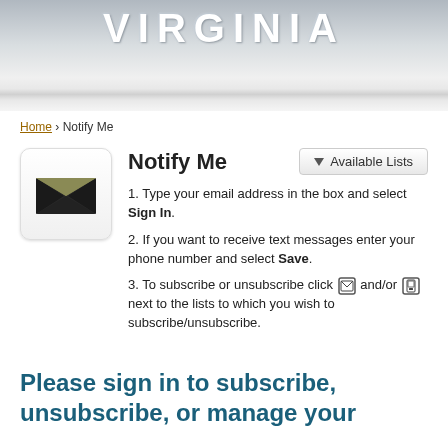VIRGINIA
Home › Notify Me
Notify Me
1. Type your email address in the box and select Sign In.
2. If you want to receive text messages enter your phone number and select Save.
3. To subscribe or unsubscribe click [email icon] and/or [phone icon] next to the lists to which you wish to subscribe/unsubscribe.
Please sign in to subscribe, unsubscribe, or manage your